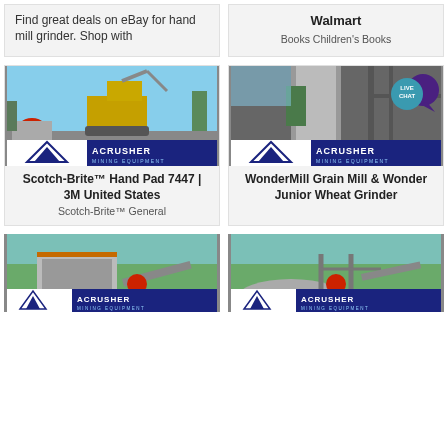Find great deals on eBay for hand mill grinder. Shop with
Walmart
Books Children's Books
[Figure (photo): Mining excavator equipment at outdoor site with Acrusher Mining Equipment logo badge]
Scotch-Brite™ Hand Pad 7447 | 3M United States
Scotch-Brite™ General
[Figure (photo): Industrial grain mill or crusher machinery with Acrusher Mining Equipment logo badge and Live Chat bubble overlay]
WonderMill Grain Mill & Wonder Junior Wheat Grinder
[Figure (photo): Rock crusher and conveyor equipment in outdoor setting with Acrusher Mining Equipment logo badge]
[Figure (photo): Rock crusher and conveyor equipment in outdoor setting with Acrusher Mining Equipment logo badge]